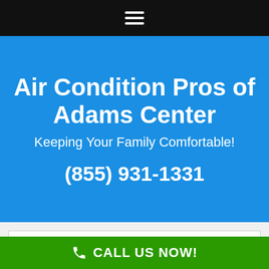[Figure (other): Black top navigation bar with white hamburger menu icon (three horizontal lines)]
Air Condition Pros of Adams Center
Keeping Your Family Comfortable!
(855) 931-1331
Are You in Need of Air Conditioner Replacement in Adams Center NY?
Top Rated AC Repair in Adams Center NY
CALL US NOW!